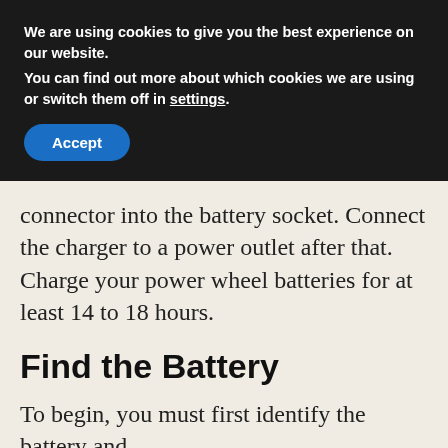We are using cookies to give you the best experience on our website.
You can find out more about which cookies we are using or switch them off in settings.
Accept
connector into the battery socket. Connect the charger to a power outlet after that. Charge your power wheel batteries for at least 14 to 18 hours.
Find the Battery
To begin, you must first identify the battery and
[Figure (screenshot): Advertisement banner showing Topgolf logo with checkmark Dine-in, X Delivery, and a blue navigation arrow icon]